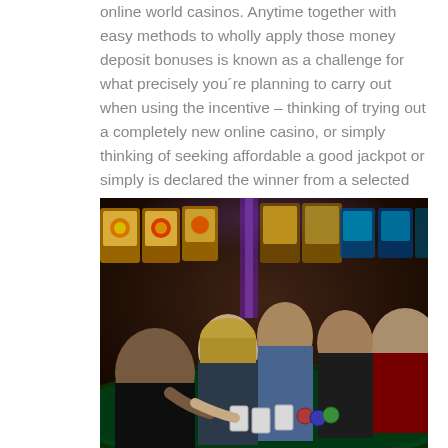online world casinos. Anytime together with easy methods to wholly apply those money deposit bonuses is known as a challenge for what precisely you´re planning to carry out when using the incentive – thinking of trying out a completely new online casino, or simply thinking of seeking affordable a good jackpot or simply is declared the winner from a selected match? However , notice speedier the chance for signing up with a good hardly any money online casino? Herein people could look at any advantages and drawbacks for performing for hardly any money on line casinos.
[Figure (photo): People gathered around a casino table playing cards, with colorful slot machines and casino lighting in the background.]